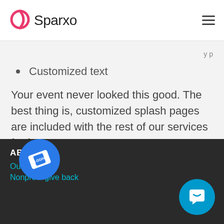Sparxo
Customized text
Your event never looked this good. The best thing is, customized splash pages are included with the rest of our services for free
ABOUT
Our Story
Nonprofit give back